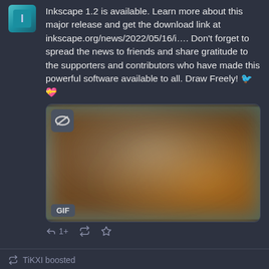Inkscape 1.2 is available. Learn more about this major release and get the download link at inkscape.org/news/2022/05/16/i…. Don't forget to spread the news to friends and share gratitude to the supporters and contributors who have made this powerful software available to all. Draw Freely! 🐦 💝
[Figure (other): GIF media attachment showing an abstract blurred gradient image with teal/green on the left and orange/brown on the right, with an Inkscape logo icon overlay at top-left and a GIF label at bottom-left]
1+
TiKXI boosted
Mnomancy @Mnemonic@hackers.town 🔒 🌐 May 14